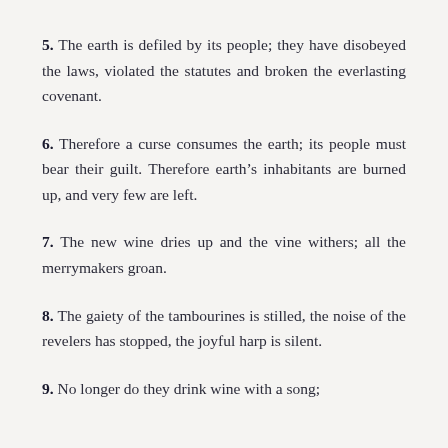5. The earth is defiled by its people; they have disobeyed the laws, violated the statutes and broken the everlasting covenant.
6. Therefore a curse consumes the earth; its people must bear their guilt. Therefore earth’s inhabitants are burned up, and very few are left.
7. The new wine dries up and the vine withers; all the merrymakers groan.
8. The gaiety of the tambourines is stilled, the noise of the revelers has stopped, the joyful harp is silent.
9. No longer do they drink wine with a song;